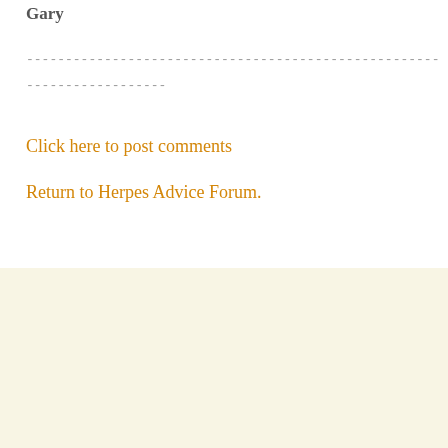Gary
--------------------------------------------------------------------------------
------------------
Click here to post comments
Return to Herpes Advice Forum.